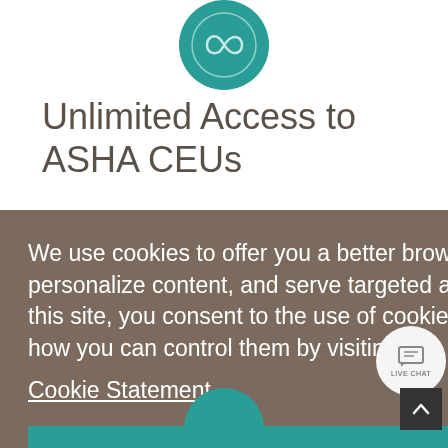[Figure (logo): Circular teal logo with infinity-like swirl design]
Unlimited Access to ASHA CEUs
We use cookies to offer you a better browsing experience, analyze site traffic, personalize content, and serve targeted advertisements. If you continue to use this site, you consent to the use of cookies. Read about how we use cookies and how you can control them by visiting our Cookie Statement.
OK
[Figure (illustration): Live chat button icon]
[Figure (illustration): Scroll to top arrow button]
[Figure (logo): Partial circular teal logo at bottom]